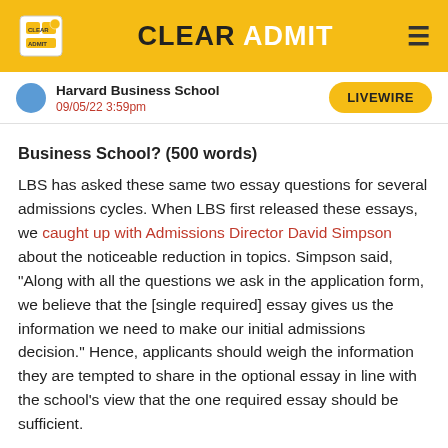CLEAR ADMIT
Harvard Business School
09/05/22 3:59pm
LIVEWIRE
Business School? (500 words)
LBS has asked these same two essay questions for several admissions cycles. When LBS first released these essays, we caught up with Admissions Director David Simpson about the noticeable reduction in topics. Simpson said, "Along with all the questions we ask in the application form, we believe that the [single required] essay gives us the information we need to make our initial admissions decision." Hence, applicants should weigh the information they are tempted to share in the optional essay in line with the school’s view that the one required essay should be sufficient.
As applicants are provided fields in the online application to address any academic weaknesses, e.g. academic probation, class withdrawal, etc., this place may be used to address other weaknesses in their applications or anomalies in the professional backgrounds that may